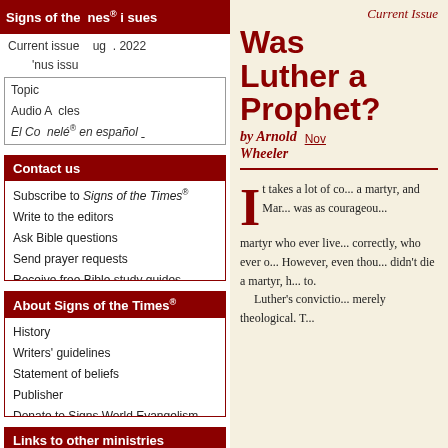Signs of the Times® Issues
Current issue   Aug . 2022
nus issu
Topic
Audio A  cles
El Co  nelé ® en español
Contact us
Subscribe to Signs of the Times®
Write to the editors
Ask Bible questions
Send prayer requests
Receive free Bible study guides
Address Change Request
About Signs of the Times®
History
Writers' guidelines
Statement of beliefs
Publisher
Donate to Signs World Evangelism
Privacy statement
Links to other ministries
Current Issue
Was Luther a Prophet?
by Arnold Wheeler   Nov
It takes a lot of co... a martyr, and Ma... was as courageou... martyr who ever live... correctly, who ever o... However, even thou... didn't die a martyr, h... to.

Luther's convictio... merely theological. T...